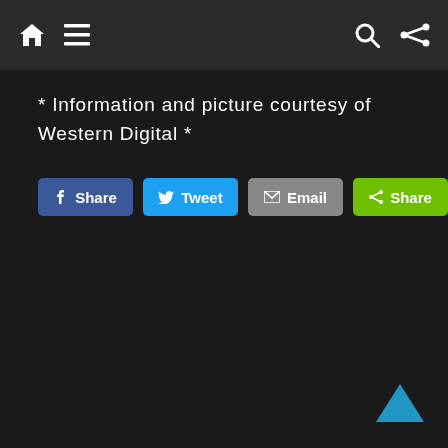Navigation bar with home, menu, search, and share icons
* Information and picture courtesy of Western Digital *
[Figure (screenshot): Social share buttons: Facebook Share, Tweet, Email, Share]